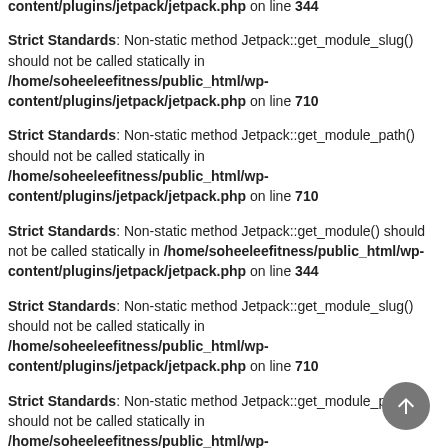content/plugins/jetpack/jetpack.php on line 344
Strict Standards: Non-static method Jetpack::get_module_slug() should not be called statically in /home/soheeleefitness/public_html/wp-content/plugins/jetpack/jetpack.php on line 710
Strict Standards: Non-static method Jetpack::get_module_path() should not be called statically in /home/soheeleefitness/public_html/wp-content/plugins/jetpack/jetpack.php on line 710
Strict Standards: Non-static method Jetpack::get_module() should not be called statically in /home/soheeleefitness/public_html/wp-content/plugins/jetpack/jetpack.php on line 344
Strict Standards: Non-static method Jetpack::get_module_slug() should not be called statically in /home/soheeleefitness/public_html/wp-content/plugins/jetpack/jetpack.php on line 710
Strict Standards: Non-static method Jetpack::get_module_path() should not be called statically in /home/soheeleefitness/public_html/wp-content/plugins/jetpack/jetpack.php on line 710